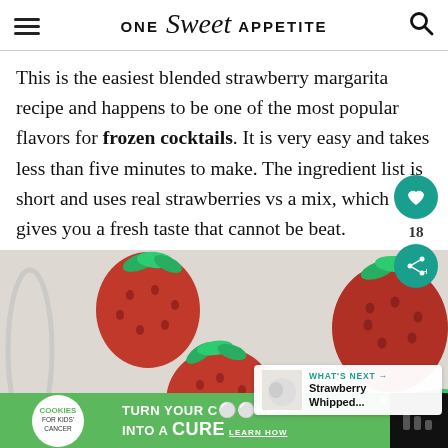ONE Sweet APPETITE
This is the easiest blended strawberry margarita recipe and happens to be one of the most popular flavors for frozen cocktails. It is very easy and takes less than five minutes to make. The ingredient list is short and uses real strawberries vs a mix, which gives you a fresh taste that cannot be beat.
[Figure (photo): Three fresh red strawberries on a white surface, close-up overhead view]
WHAT'S NEXT → Strawberry Whipped...
[Figure (infographic): Cookies for Kids Cancer advertisement: turn your COOKIES into a CURE - LEARN HOW]